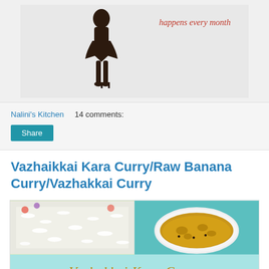[Figure (illustration): Blog banner showing a silhouette of a woman in heels with text 'happens every month' in red italic font on a light gray background]
Nalini's Kitchen    14 comments:
Share
Vazhaikkai Kara Curry/Raw Banana Curry/Vazhakkai Curry
[Figure (photo): Food photo collage showing rice and curry bowls with a teal/mint banner in the middle displaying 'Vazhakkai Kara Curry' in gold cursive text]